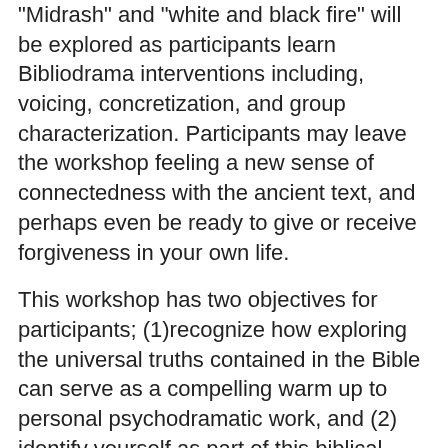“Midrash” and “white and black fire” will be explored as participants learn Bibliodrama interventions including, voicing, concretization, and group characterization. Participants may leave the workshop feeling a new sense of connectedness with the ancient text, and perhaps even be ready to give or receive forgiveness in your own life.
This workshop has two objectives for participants; (1)recognize how exploring the universal truths contained in the Bible can serve as a compelling warm up to personal psychodramatic work, and (2) identify yourself as part of this biblical “world,” and feel yourself to be an element in its structure of universal history.
Registration is not yet open to the public.  Please check back for further details and for information about how to register for this event.